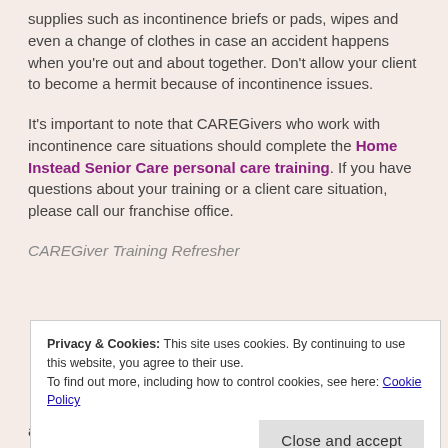supplies such as incontinence briefs or pads, wipes and even a change of clothes in case an accident happens when you're out and about together. Don't allow your client to become a hermit because of incontinence issues.
It's important to note that CAREGivers who work with incontinence care situations should complete the Home Instead Senior Care personal care training. If you have questions about your training or a client care situation, please call our franchise office.
CAREGiver Training Refresher
Privacy & Cookies: This site uses cookies. By continuing to use this website, you agree to their use. To find out more, including how to control cookies, see here: Cookie Policy
Close and accept
assistance while toileting can be very upsetting to a